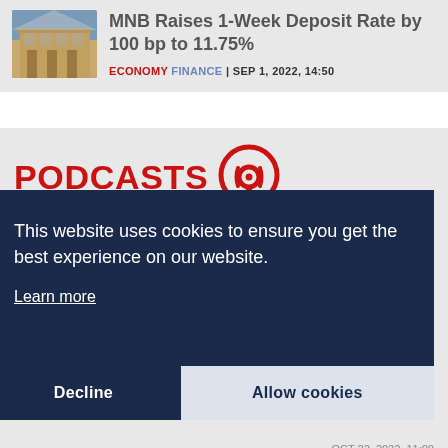[Figure (photo): Photo of a historic stone building with classical architecture, blue sky in background]
MNB Raises 1-Week Deposit Rate by 100 bp to 11.75%
ECONOMY FINANCE | SEP 1, 2022, 14:50
PODCASTS
This website uses cookies to ensure you get the best experience on our website.
Learn more
Decline
Allow cookies